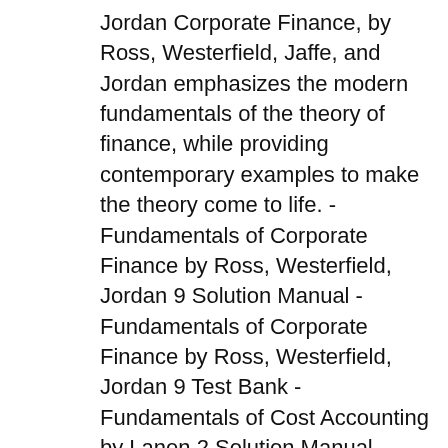Jordan Corporate Finance, by Ross, Westerfield, Jaffe, and Jordan emphasizes the modern fundamentals of the theory of finance, while providing contemporary examples to make the theory come to life. -Fundamentals of Corporate Finance by Ross, Westerfield, Jordan 9 Solution Manual -Fundamentals of Corporate Finance by Ross, Westerfield, Jordan 9 Test Bank -Fundamentals of Cost Accounting by Lanen 2 Solution Manual
This is completed downloadable of Solutions Manual for Fundamentals of Corporate Finance Canadian 8th edition by Stephen A. Ross, Randolph W Westerfield, Bradford D Jordan, Gordon